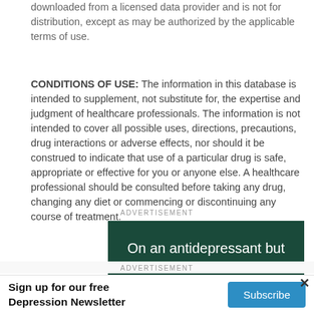downloaded from a licensed data provider and is not for distribution, except as may be authorized by the applicable terms of use.
CONDITIONS OF USE: The information in this database is intended to supplement, not substitute for, the expertise and judgment of healthcare professionals. The information is not intended to cover all possible uses, directions, precautions, drug interactions or adverse effects, nor should it be construed to indicate that use of a particular drug is safe, appropriate or effective for you or anyone else. A healthcare professional should be consulted before taking any drug, changing any diet or commencing or discontinuing any course of treatment.
ADVERTISEMENT
[Figure (other): Dark green advertisement banner with white text reading 'On an antidepressant but']
ADVERTISEMENT
Sign up for our free Depression Newsletter
Subscribe